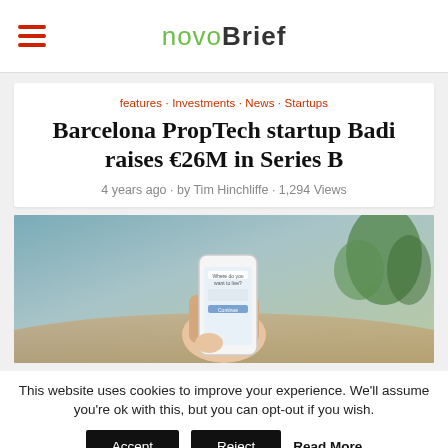novobrief
features · Investments · News · Startups
Barcelona PropTech startup Badi raises €26M in Series B
4 years ago · by Tim Hinchliffe · 1,294 Views
[Figure (photo): Hand holding a smartphone showing the Badi app interface with 'Where do you want to live?' prompt, blurred background with wooden table and green plant]
This website uses cookies to improve your experience. We'll assume you're ok with this, but you can opt-out if you wish.
Accept  Reject  Read More